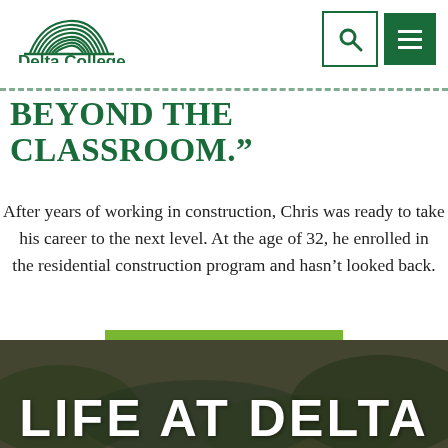Delta College
BEYOND THE CLASSROOM.”
After years of working in construction, Chris was ready to take his career to the next level. At the age of 32, he enrolled in the residential construction program and hasn’t looked back.
WATCH THE VIDEO
[Figure (photo): Background photo showing Life at Delta section with outdoor scene and large white bold text reading LIFE AT DELTA]